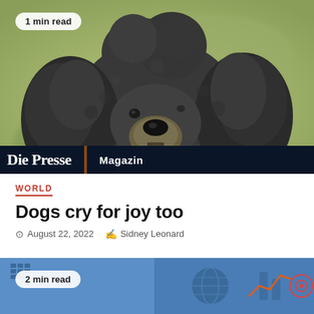[Figure (photo): Close-up photo of a dark grey curly-haired poodle dog against a blurred green background, with a '1 min read' badge overlay and 'Die Presse Magazin' branding bar at the bottom]
WORLD
Dogs cry for joy too
August 22, 2022   Sidney Leonard
[Figure (illustration): Partial view of a second article thumbnail showing blue illustrated icons (keyboard, globe, data chart, line chart, target) with a '2 min read' badge and an orange scroll-to-top button with upward arrow]